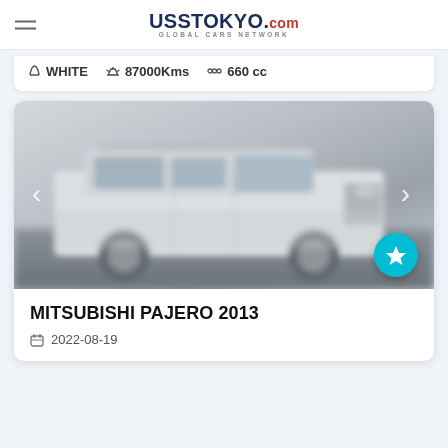UssTokyo.com — GLOBAL CARS NETWORK
WHITE   87000Kms   660 cc
[Figure (photo): Blurred photo of a white Mitsubishi Pajero SUV in wintry/foggy conditions, with navigation arrows on left and right and a cyan FAB button in the bottom-right corner.]
MITSUBISHI PAJERO 2013
2022-08-19